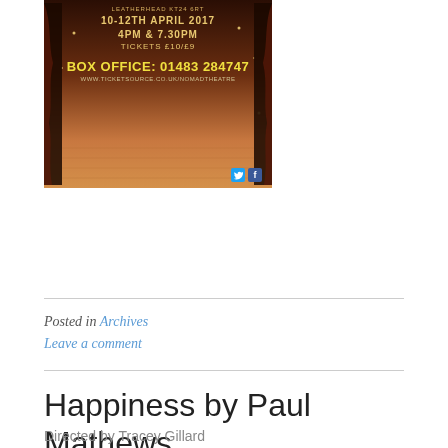[Figure (photo): Theatre event poster with dark stage background, showing event details: LEATHERHEAD KT24 6RT, 10-12TH APRIL 2017, 4PM & 7.30PM, TICKETS £10/£9, BOX OFFICE: 01483 284747, WWW.TICKETSOURCE.CO.UK/NOMADTHEATRE]
Posted in Archives
Leave a comment
Happiness by Paul Mathews
Directed by Tracey Gillard
Tuesday 4 to Saturday 8 April at 7.45
Adults £12, children/students £10